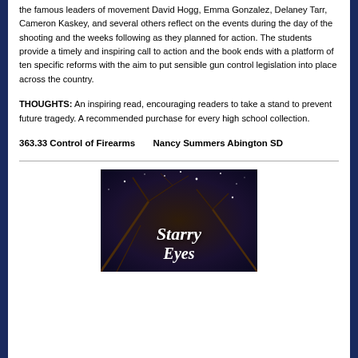the famous leaders of movement David Hogg, Emma Gonzalez, Delaney Tarr, Cameron Kaskey, and several others reflect on the events during the day of the shooting and the weeks following as they planned for action. The students provide a timely and inspiring call to action and the book ends with a platform of ten specific reforms with the aim to put sensible gun control legislation into place across the country.
THOUGHTS: An inspiring read, encouraging readers to take a stand to prevent future tragedy. A recommended purchase for every high school collection.
363.33 Control of Firearms      Nancy Summers Abington SD
[Figure (photo): Book cover of 'Starry Eyes' showing a dark night sky with stars and branches, title text in white cursive script]